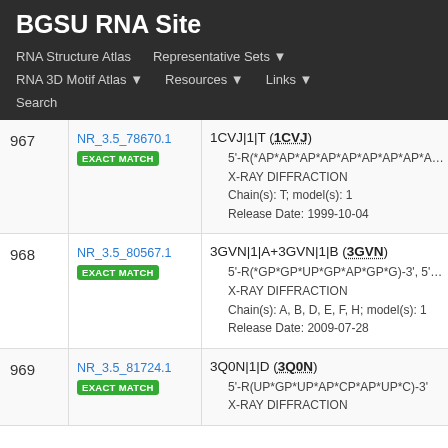BGSU RNA Site
RNA Structure Atlas
Representative Sets
RNA 3D Motif Atlas
Resources
Links
Search
| # | ID | Details |
| --- | --- | --- |
| 967 | NR_3.5_78670.1 EXACT MATCH | 1CVJ|1|T (1CVJ)
5'-R(*AP*AP*AP*AP*AP*AP*AP*AP*AP*
X-RAY DIFFRACTION
Chain(s): T; model(s): 1
Release Date: 1999-10-04 |
| 968 | NR_3.5_80567.1 EXACT MATCH | 3GVN|1|A+3GVN|1|B (3GVN)
5'-R(*GP*GP*UP*GP*AP*GP*G)-3', 5'-R(
X-RAY DIFFRACTION
Chain(s): A, B, D, E, F, H; model(s): 1
Release Date: 2009-07-28 |
| 969 | NR_3.5_81724.1 EXACT MATCH | 3Q0N|1|D (3Q0N)
5'-R(UP*GP*UP*AP*CP*AP*UP*C)-3'
X-RAY DIFFRACTION |